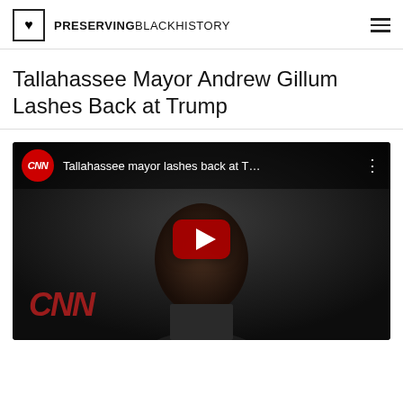PRESERVINGBLACKHISTORY
Tallahassee Mayor Andrew Gillum Lashes Back at Trump
[Figure (screenshot): Embedded CNN YouTube video thumbnail showing a man in a dark scene with CNN logo, title 'Tallahassee mayor lashes back at T…', and a YouTube play button overlay.]